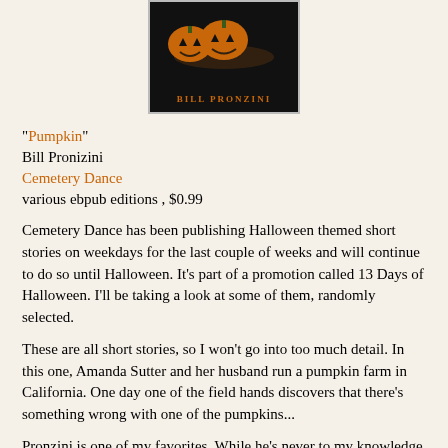[Figure (photo): Book cover for 'Pumpkin' by Bill Pronzini — black background with orange jack-o-lantern pumpkins and the author name 'BILL PRONZINI' in orange text at the bottom]
"Pumpkin"
Bill Pronizini
Cemetery Dance
various ebpub editions , $0.99
Cemetery Dance has been publishing Halloween themed short stories on weekdays for the last couple of weeks and will continue to do so until Halloween.  It's part of a promotion called 13 Days of Halloween. I'll be taking a look at some of them, randomly selected.
These are all short stories, so I won't go into too much detail.  In this one, Amanda Sutter and her husband run a pumpkin farm in California.  One day one of the field hands discovers that there's something wrong with one of the pumpkins...
Pronzini is one of my favorites.  While he's never to my knowledge written any heroic fantasy, he does occasionally venture from the